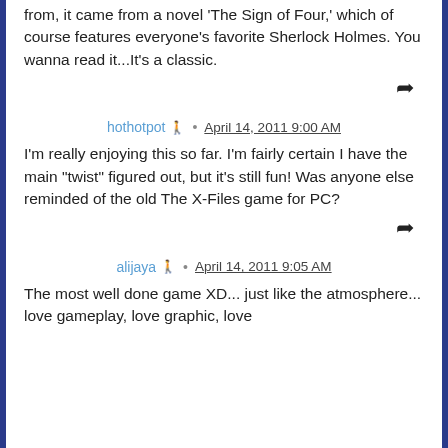from, it came from a novel 'The Sign of Four,' which of course features everyone's favorite Sherlock Holmes. You wanna read it...It's a classic.
hothotpot · April 14, 2011 9:00 AM
I'm really enjoying this so far. I'm fairly certain I have the main "twist" figured out, but it's still fun! Was anyone else reminded of the old The X-Files game for PC?
alijaya · April 14, 2011 9:05 AM
The most well done game XD... just like the atmosphere... love gameplay, love graphic, love